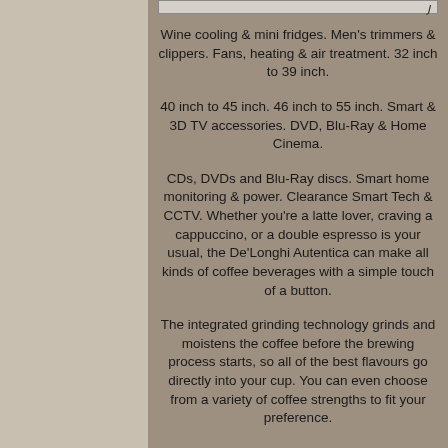Wine cooling & mini fridges. Men's trimmers & clippers. Fans, heating & air treatment. 32 inch to 39 inch.
40 inch to 45 inch. 46 inch to 55 inch. Smart & 3D TV accessories. DVD, Blu-Ray & Home Cinema.
CDs, DVDs and Blu-Ray discs. Smart home monitoring & power. Clearance Smart Tech & CCTV. Whether you're a latte lover, craving a cappuccino, or a double espresso is your usual, the De'Longhi Autentica can make all kinds of coffee beverages with a simple touch of a button.
The integrated grinding technology grinds and moistens the coffee before the brewing process starts, so all of the best flavours go directly into your cup. You can even choose from a variety of coffee strengths to fit your preference.
With the manual cappuccinatore you can either heat-up the milk for a smooth latte or create a velvety milk cappuccino from the type of milk you like the most. And it has a memory function, so you can also save your favourite